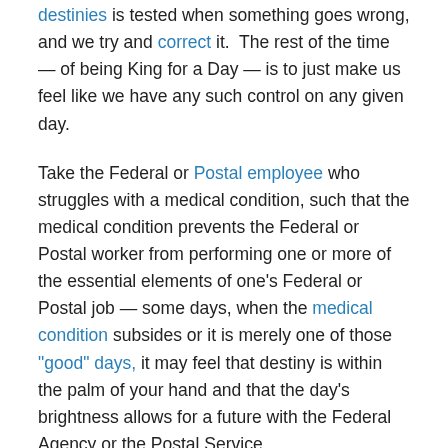destinies is tested when something goes wrong, and we try and correct it.  The rest of the time — of being King for a Day — is to just make us feel like we have any such control on any given day.
Take the Federal or Postal employee who struggles with a medical condition, such that the medical condition prevents the Federal or Postal worker from performing one or more of the essential elements of one's Federal or Postal job — some days, when the medical condition subsides or it is merely one of those "good" days, it may feel that destiny is within the palm of your hand and that the day's brightness allows for a future with the Federal Agency or the Postal Service.
But then the inevitable “setback” occurs, and the cycle of the “bad day” comes along.  Then, one day the Federal Agency with its co-conspirators of supervisors, managers